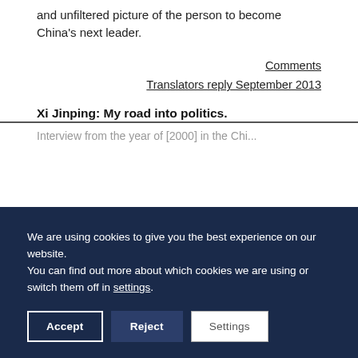and unfiltered picture of the person to become China's next leader.
Comments
Translators reply September 2013
Xi Jinping: My road into politics.
Interview from the year of [2000] in the Chi...
We are using cookies to give you the best experience on our website.
You can find out more about which cookies we are using or switch them off in settings.
Accept  Reject  Settings